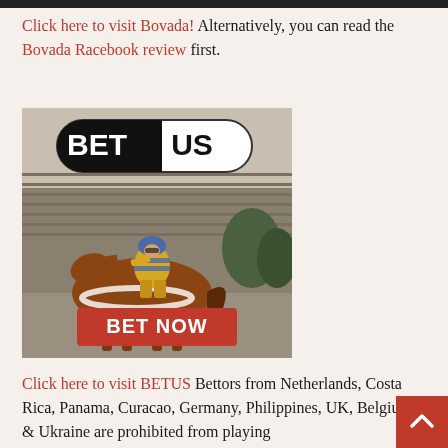Click here to visit Bovada! Alternatively, you can read the Bovada Racebook review first.
[Figure (photo): BetUS advertisement banner showing a jockey on a racehorse at a racetrack with a 'BET NOW' red button and the BetUS logo at the top]
Click here to visit BETUS Bettors from Netherlands, Costa Rica, Panama, Curacao, Germany, Philippines, UK, Belgium & Ukraine are prohibited from playing here. Check our BetUS review...